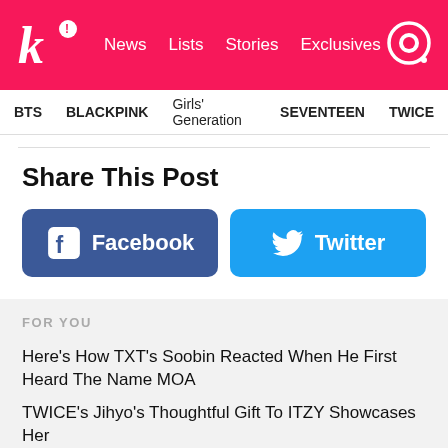koreaboo — News | Lists | Stories | Exclusives
BTS  BLACKPINK  Girls' Generation  SEVENTEEN  TWICE
Share This Post
[Figure (other): Facebook and Twitter share buttons]
FOR YOU
Here's How TXT's Soobin Reacted When He First Heard The Name MOA
TWICE's Jihyo's Thoughtful Gift To ITZY Showcases Her